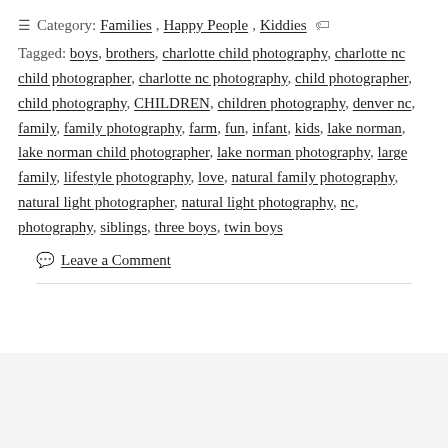≡ Category: Families, Happy People, Kiddies 🏷
Tagged: boys, brothers, charlotte child photography, charlotte nc child photographer, charlotte nc photography, child photographer, child photography, CHILDREN, children photography, denver nc, family, family photography, farm, fun, infant, kids, lake norman, lake norman child photographer, lake norman photography, large family, lifestyle photography, love, natural family photography, natural light photographer, natural light photography, nc, photography, siblings, three boys, twin boys
Leave a Comment